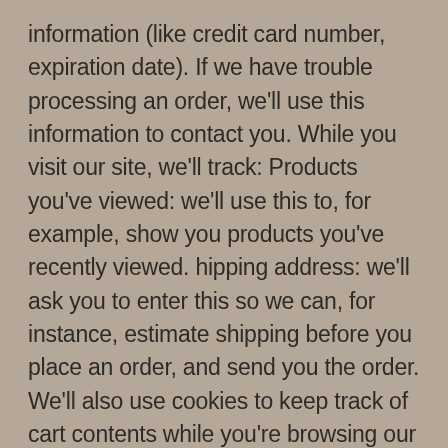information (like credit card number, expiration date). If we have trouble processing an order, we'll use this information to contact you. While you visit our site, we'll track: Products you've viewed: we'll use this to, for example, show you products you've recently viewed. hipping address: we'll ask you to enter this so we can, for instance, estimate shipping before you place an order, and send you the order. We'll also use cookies to keep track of cart contents while you're browsing our site.